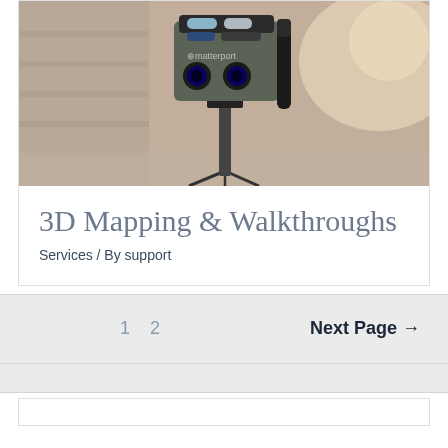[Figure (photo): Close-up photo of a Matterport 3D camera mounted on a tripod, in a room with blurred warm background. The camera is a boxy dark-grey device with buttons on top and the Matterport logo visible on the front.]
3D Mapping & Walkthroughs
Services / By support
1  2  Next Page →